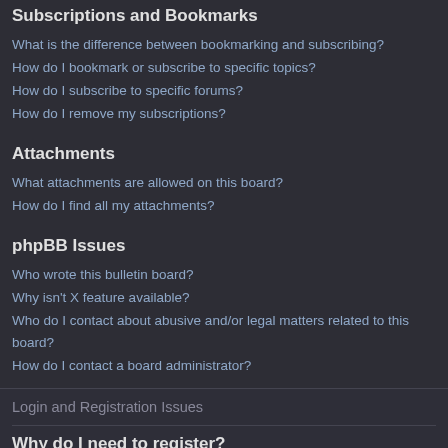Subscriptions and Bookmarks
What is the difference between bookmarking and subscribing?
How do I bookmark or subscribe to specific topics?
How do I subscribe to specific forums?
How do I remove my subscriptions?
Attachments
What attachments are allowed on this board?
How do I find all my attachments?
phpBB Issues
Who wrote this bulletin board?
Why isn't X feature available?
Who do I contact about abusive and/or legal matters related to this board?
How do I contact a board administrator?
Login and Registration Issues
Why do I need to register?
You may not have to, it is up to the administrator of the board as to